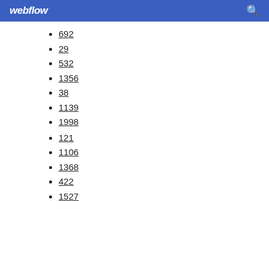webflow
692
29
532
1356
38
1139
1998
121
1106
1368
422
1527